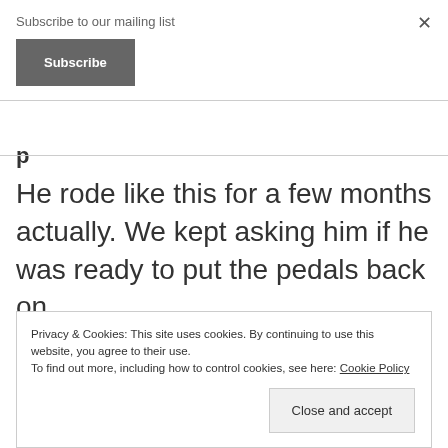Subscribe to our mailing list
Subscribe
×
p
He rode like this for a few months actually. We kept asking him if he was ready to put the pedals back on,
Privacy & Cookies: This site uses cookies. By continuing to use this website, you agree to their use.
To find out more, including how to control cookies, see here: Cookie Policy
Close and accept